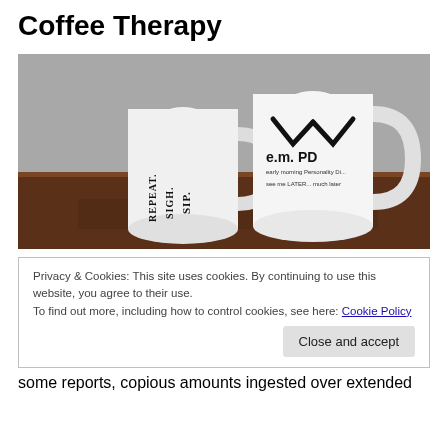Coffee Therapy
[Figure (photo): Two white coffee mugs on a wooden table. Left mug reads 'SIP. SIGH. REPEAT.' rotated sideways. Right mug reads 'e.m. PD early morning Personality Disorder see me LATER... much later' with stylized checkmark/wing logo above text.]
Privacy & Cookies: This site uses cookies. By continuing to use this website, you agree to their use.
To find out more, including how to control cookies, see here: Cookie Policy
some reports, copious amounts ingested over extended